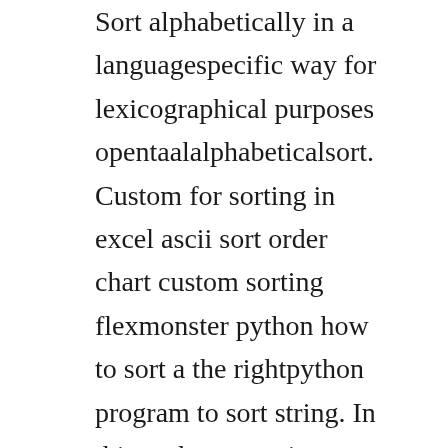Sort alphabetically in a languagespecific way for lexicographical purposes opentaalalphabeticalsort. Custom for sorting in excel ascii sort order chart custom sorting flexmonster python how to sort a the rightpython program to sort string. In this python exercise, write a python program that will take the input of words commaseparated format. Python 3 list sort method the sort method sorts objects of list, use compare function if given. This method will allow you to sort the numerical lists in ascending or descending order and the stringbased lists in